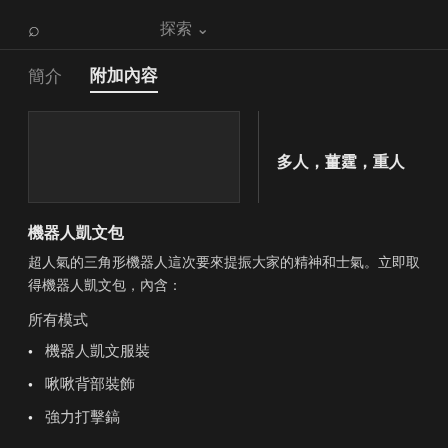🔍  探索 ∨
簡介   附加內容
多人，薑霆，重人
機器人凱文包
超人氣的三角形機器人這次要來提振大家的精神和士氣。立即取得機器人凱文包，內含：
所有模式
機器人凱文服裝
啾啾背部裝飾
強力打擊鎬